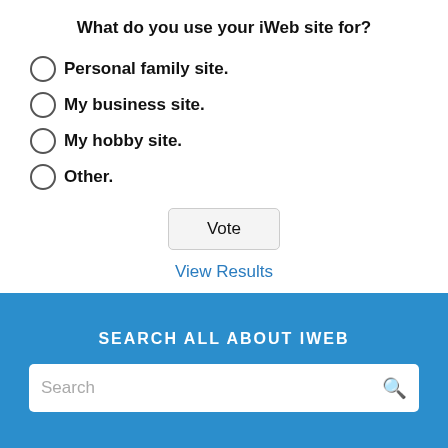What do you use your iWeb site for?
Personal family site.
My business site.
My hobby site.
Other.
Vote
View Results
Polls Archive
SEARCH ALL ABOUT IWEB
Search